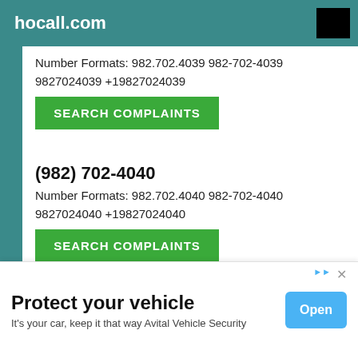hocall.com
Number Formats: 982.702.4039 982-702-4039 9827024039 +19827024039
SEARCH COMPLAINTS
(982) 702-4040
Number Formats: 982.702.4040 982-702-4040 9827024040 +19827024040
SEARCH COMPLAINTS
(982) 702-4041
Number Formats: 982.702.4041 982-702-4041 9827024041 +19827024041
Protect your vehicle
It's your car, keep it that way Avital Vehicle Security